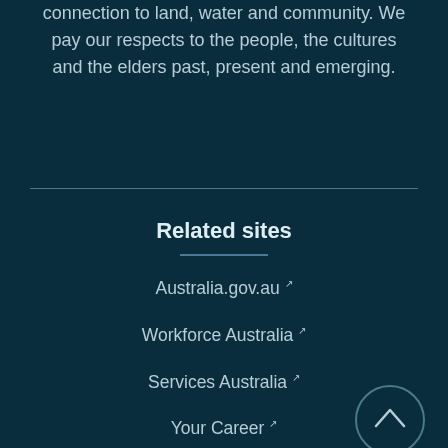throughout Australia and acknowledge their continuing connection to land, water and community. We pay our respects to the people, the cultures and the elders past, present and emerging.
Related sites
Australia.gov.au ↗
Workforce Australia ↗
Services Australia ↗
Your Career ↗
MySkills ↗